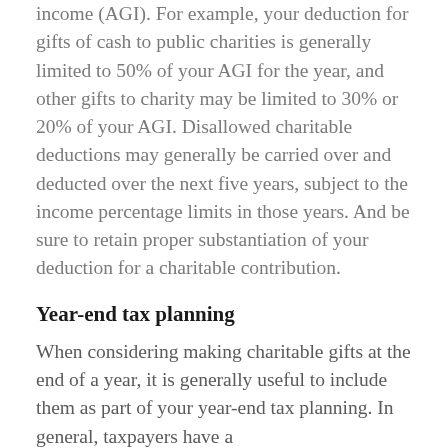income (AGI). For example, your deduction for gifts of cash to public charities is generally limited to 50% of your AGI for the year, and other gifts to charity may be limited to 30% or 20% of your AGI. Disallowed charitable deductions may generally be carried over and deducted over the next five years, subject to the income percentage limits in those years. And be sure to retain proper substantiation of your deduction for a charitable contribution.
Year-end tax planning
When considering making charitable gifts at the end of a year, it is generally useful to include them as part of your year-end tax planning. In general, taxpayers have a